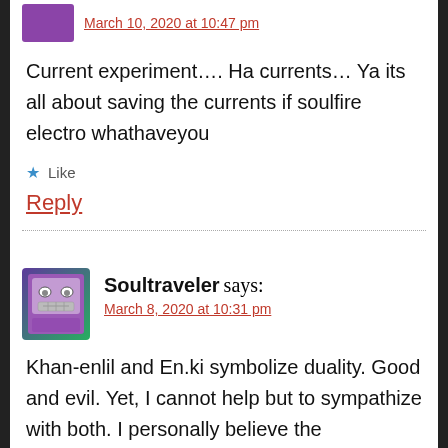March 10, 2020 at 10:47 pm
Current experiment…. Ha currents… Ya its all about saving the currents if soulfire electro whathaveyou
★ Like
Reply
Soultraveler says:
March 8, 2020 at 10:31 pm
Khan-enlil and En.ki symbolize duality. Good and evil. Yet, I cannot help but to sympathize with both. I personally believe the experiment should have been ended a long time ago. and I